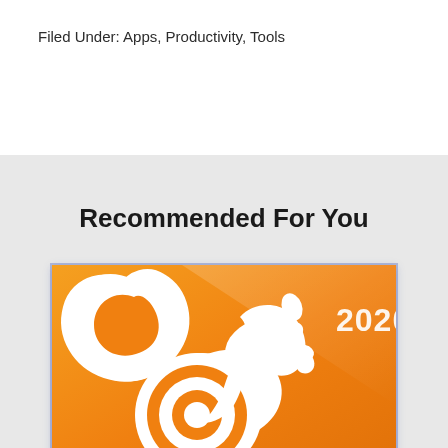Filed Under: Apps, Productivity, Tools
Recommended For You
[Figure (logo): UC Browser 2020 app icon on orange background featuring a white stylized squirrel/UC logo with '2020' text in upper right corner]